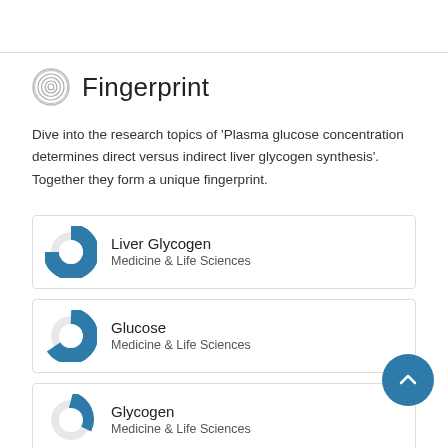Fingerprint
Dive into the research topics of 'Plasma glucose concentration determines direct versus indirect liver glycogen synthesis'. Together they form a unique fingerprint.
Liver Glycogen — Medicine & Life Sciences
Glucose — Medicine & Life Sciences
Glycogen — Medicine & Life Sciences
Lactic Acid — (partial)